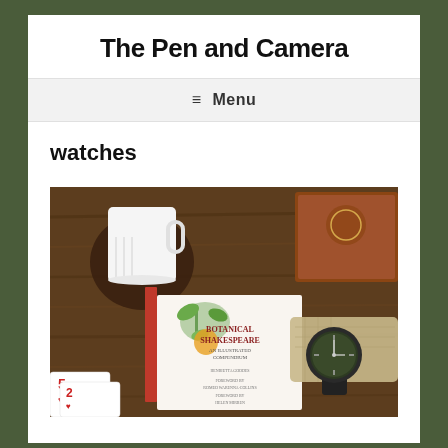The Pen and Camera
≡  Menu
watches
[Figure (photo): Flatlay photo on a wooden table showing a white ceramic mug on a leather coaster, a book titled 'Botanical Shakespeare: An Illustrated Compendium' with botanical illustrations on the cover, a wooden box, a dark analog watch resting on a burlap cushion, and playing cards in the foreground.]